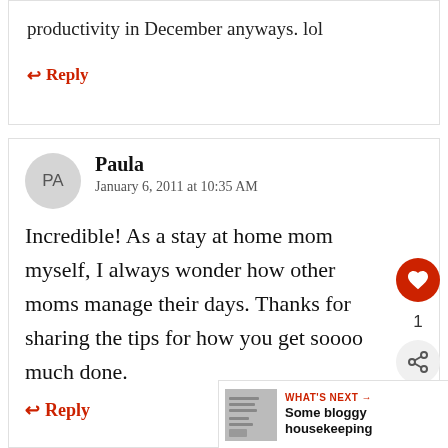productivity in December anyways. lol
↩ Reply
Paula
January 6, 2011 at 10:35 AM
Incredible! As a stay at home mom myself, I always wonder how other moms manage their days. Thanks for sharing the tips for how you get soooo much done.
↩ Reply
WHAT'S NEXT → Some bloggy housekeeping